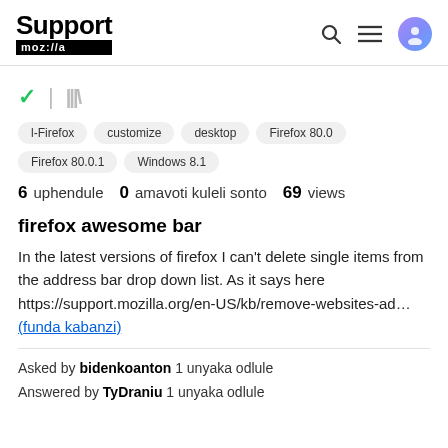Support mozilla | [search] [menu] [user icon]
[Figure (other): Tab icons: green checkmark and library/bookmark icon]
l-Firefox
customize
desktop
Firefox 80.0
Firefox 80.0.1
Windows 8.1
6 uphendule   0 amavoti kuleli sonto   69 views
firefox awesome bar
In the latest versions of firefox I can't delete single items from the address bar drop down list. As it says here https://support.mozilla.org/en-US/kb/remove-websites-ad… (funda kabanzi)
Asked by bidenkoanton 1 unyaka odlule
Answered by TyDraniu 1 unyaka odlule